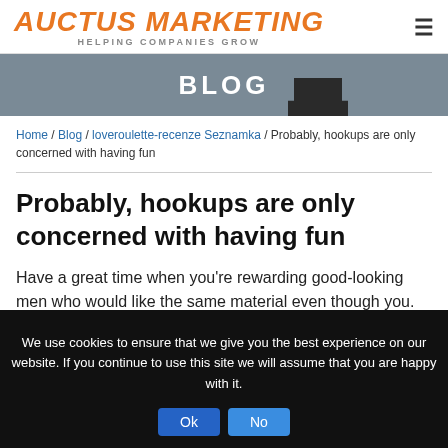AUCTUS MARKETING HELPING COMPANIES GROW
BLOG
Home / Blog / loveroulette-recenze Seznamka / Probably, hookups are only concerned with having fun
Probably, hookups are only concerned with having fun
Have a great time when you’re rewarding good-looking men who would like the same material even though you. When it
We use cookies to ensure that we give you the best experience on our website. If you continue to use this site we will assume that you are happy with it. Ok No